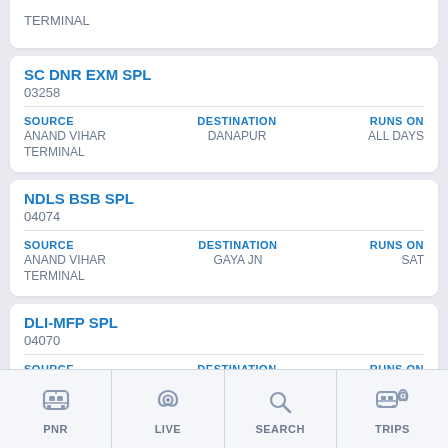TERMINAL
SC DNR EXM SPL
03258
SOURCE: ANAND VIHAR TERMINAL
DESTINATION: DANAPUR
RUNS ON: ALL DAYS
NDLS BSB SPL
04074
SOURCE: ANAND VIHAR TERMINAL
DESTINATION: GAYA JN
RUNS ON: SAT
DLI-MFP SPL
04070
SOURCE: ANAND VIHAR
DESTINATION: JOGBANI
RUNS ON: ALL DAYS
PNR   LIVE   SEARCH   TRIPS